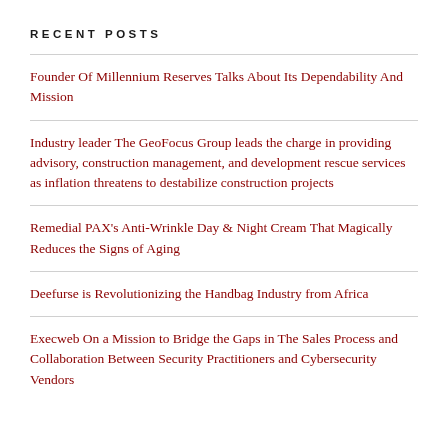RECENT POSTS
Founder Of Millennium Reserves Talks About Its Dependability And Mission
Industry leader The GeoFocus Group leads the charge in providing advisory, construction management, and development rescue services as inflation threatens to destabilize construction projects
Remedial PAX's Anti-Wrinkle Day & Night Cream That Magically Reduces the Signs of Aging
Deefurse is Revolutionizing the Handbag Industry from Africa
Execweb On a Mission to Bridge the Gaps in The Sales Process and Collaboration Between Security Practitioners and Cybersecurity Vendors